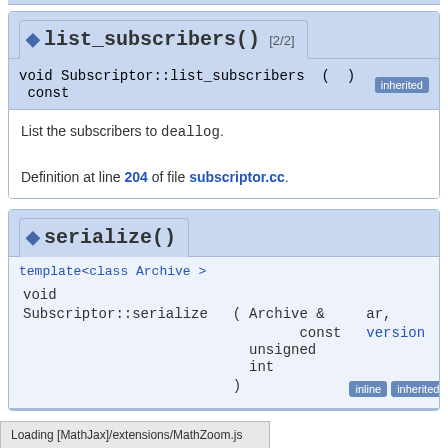list_subscribers() [2/2]
void Subscriptor::list_subscribers ( ) const
List the subscribers to deallog.
Definition at line 204 of file subscriptor.cc.
serialize()
template<class Archive >
void Subscriptor::serialize ( Archive & ar, const unsigned int version )